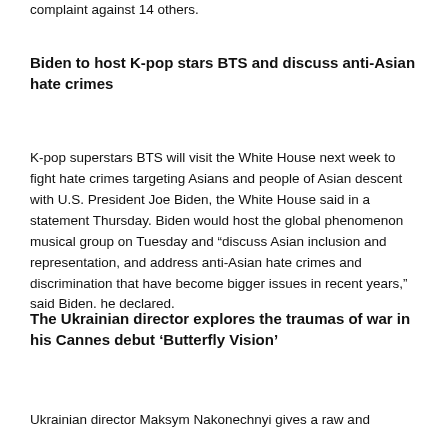others due to lack of or sufficient evidence, while filing a complaint against 14 others.
Biden to host K-pop stars BTS and discuss anti-Asian hate crimes
K-pop superstars BTS will visit the White House next week to fight hate crimes targeting Asians and people of Asian descent with U.S. President Joe Biden, the White House said in a statement Thursday. Biden would host the global phenomenon musical group on Tuesday and “discuss Asian inclusion and representation, and address anti-Asian hate crimes and discrimination that have become bigger issues in recent years,” said Biden. he declared.
The Ukrainian director explores the traumas of war in his Cannes debut ‘Butterfly Vision’
Ukrainian director Maksym Nakonechnyi gives a raw and